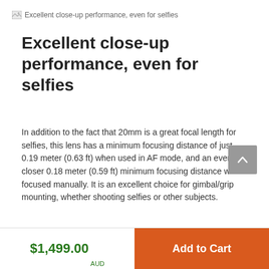Excellent close-up performance, even for selfies
Excellent close-up performance, even for selfies
In addition to the fact that 20mm is a great focal length for selfies, this lens has a minimum focusing distance of just 0.19 meter (0.63 ft) when used in AF mode, and an even closer 0.18 meter (0.59 ft) minimum focusing distance when focused manually. It is an excellent choice for gimbal/grip mounting, whether shooting selfies or other subjects.
$1,499.00 AUD
Add to Cart